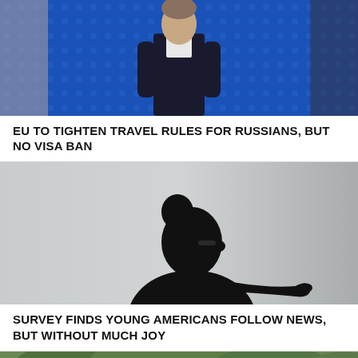[Figure (photo): Man in dark suit walking in front of a blue background with circular pattern dots]
EU TO TIGHTEN TRAVEL RULES FOR RUSSIANS, BUT NO VISA BAN
[Figure (photo): Silhouette of a woman with hair in a bun, looking at her hand, against a light gray background]
SURVEY FINDS YOUNG AMERICANS FOLLOW NEWS, BUT WITHOUT MUCH JOY
[Figure (photo): Partial view of green trees or foliage]